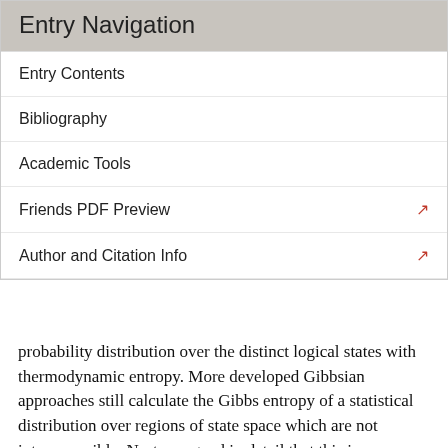Entry Navigation
Entry Contents
Bibliography
Academic Tools
Friends PDF Preview
Author and Citation Info
probability distribution over the distinct logical states with thermodynamic entropy. More developed Gibbsian approaches still calculate the Gibbs entropy of a statistical distribution over regions of state space which are not interaccessible. Norton argued in detail that this is an illegitimate calculation, and that the resulting entropy has nothing to do with thermodynamic entropy.
The objection extends far beyond the scope of Landauer's principle. It shares much with general Boltzmannian arguments against the Gibbs approach to statistical mechanics. However, it is questionable whether proofs